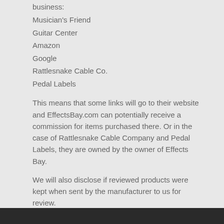business:
Musician's Friend
Guitar Center
Amazon
Google
Rattlesnake Cable Co.
Pedal Labels
This means that some links will go to their website and EffectsBay.com can potentially receive a commission for items purchased there. Or in the case of Rattlesnake Cable Company and Pedal Labels, they are owned by the owner of Effects Bay.
We will also disclose if reviewed products were kept when sent by the manufacturer to us for review.